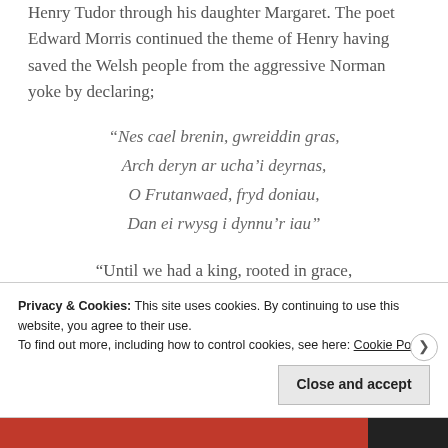Henry Tudor through his daughter Margaret. The poet Edward Morris continued the theme of Henry having saved the Welsh people from the aggressive Norman yoke by declaring;
“Nes cael brenin, gwreiddin gras,
Arch deryn ar ucha’i deyrnas,
O Frutanwaed, fryd doniau,
Dan ei rwysg i dynnu’r iau”
“Until we had a king, rooted in grace,
Chief ruler of all his kingdom,
A man of British blood, of splendid gifts,
Privacy & Cookies: This site uses cookies. By continuing to use this website, you agree to their use.
To find out more, including how to control cookies, see here: Cookie Policy
Close and accept